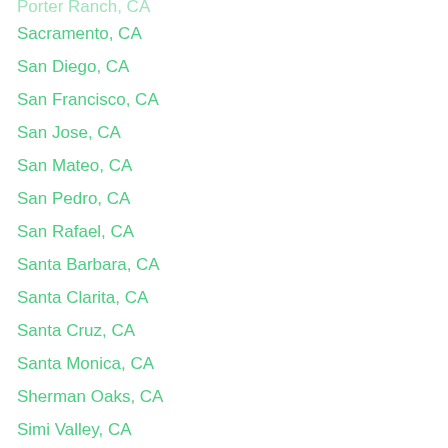Porter Ranch, CA
Sacramento, CA
San Diego, CA
San Francisco, CA
San Jose, CA
San Mateo, CA
San Pedro, CA
San Rafael, CA
Santa Barbara, CA
Santa Clarita, CA
Santa Cruz, CA
Santa Monica, CA
Sherman Oaks, CA
Simi Valley, CA
Sunnyvale, CA